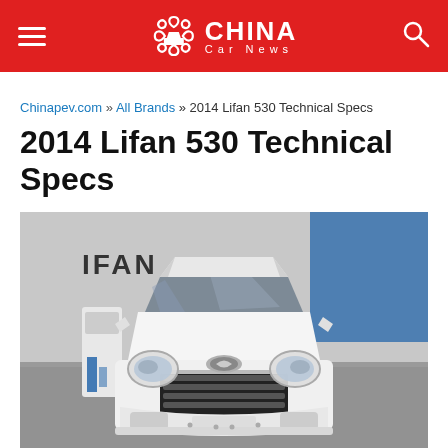China Car News
Chinapev.com » All Brands » 2014 Lifan 530 Technical Specs
2014 Lifan 530 Technical Specs
[Figure (photo): Front view of a white 2014 Lifan 530 sedan displayed at an auto show, with an IFAN banner in the background and a charging station kiosk on the left.]